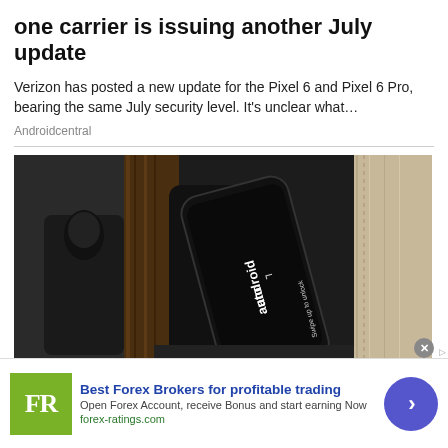one carrier is issuing another July update
Verizon has posted a new update for the Pixel 6 and Pixel 6 Pro, bearing the same July security level. It's unclear what…
Androidcentral
[Figure (photo): A smartphone showing the Android Auto screen with 'Swipe up to unlock' text, placed in a car center console area with wooden trim and leather interior.]
Best Forex Brokers for profitable trading
Open Forex Account, receive Bonus and start earning Now
forex-ratings.com